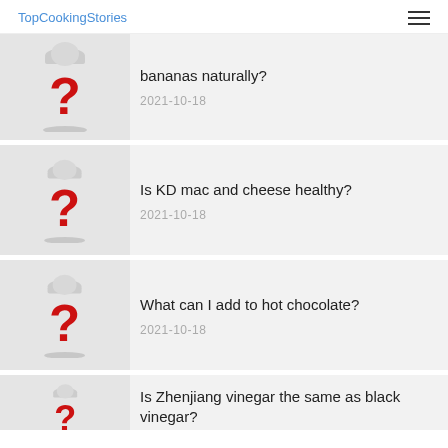TopCookingStories
bananas naturally?
2021-10-18
Is KD mac and cheese healthy?
2021-10-18
What can I add to hot chocolate?
2021-10-18
Is Zhenjiang vinegar the same as black vinegar?